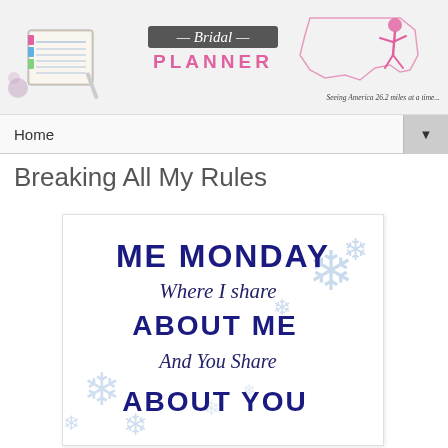[Figure (illustration): Blog header banner with a bridal planner notebook illustration on the left, 'Bridal PLANNER' text in center, and a map of the US with a running figure on the right. Tagline: 'Seeing America 26.2 miles at a time...']
Home ▼
Breaking All My Rules
[Figure (infographic): Me Monday graphic with snowflake background. Text reads: ME MONDAY / Where I share / ABOUT ME / And You Share / ABOUT YOU]